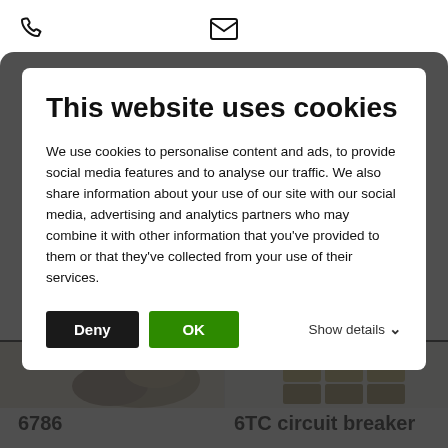📞  ✉
This website uses cookies
We use cookies to personalise content and ads, to provide social media features and to analyse our traffic. We also share information about your use of our site with our social media, advertising and analytics partners who may combine it with other information that you've provided to them or that they've collected from your use of their services.
Deny  OK  Show details
[Figure (photo): Product image on left side, partially visible under modal overlay]
[Figure (photo): Product image on right side showing circuit breaker components, partially visible under modal overlay]
6786
6TC circuit breaker